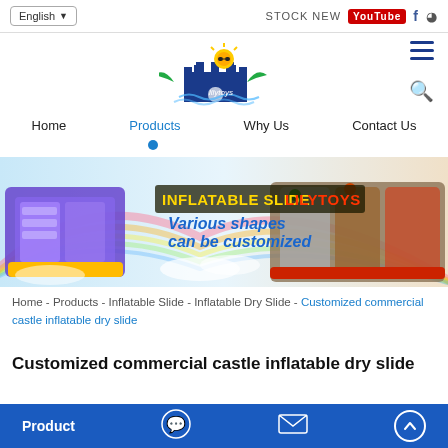English | STOCK NEW YouTube f
[Figure (logo): Lilytoys logo with sun and castle]
Home  Products  Why Us  Contact Us
[Figure (photo): Banner showing inflatable slides with text: INFLATABLE SLIDE LILYTOYS, Various shapes can be customized]
Home - Products - Inflatable Slide - Inflatable Dry Slide - Customized commercial castle inflatable dry slide
Customized commercial castle inflatable dry slide
Product